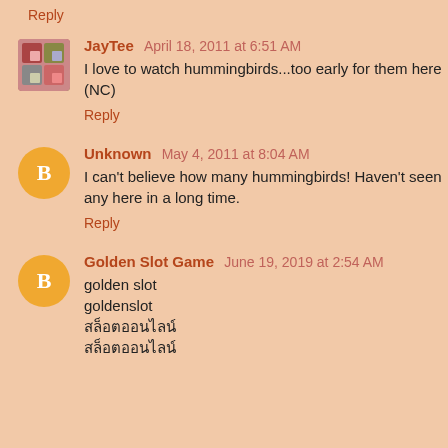Reply
JayTee April 18, 2011 at 6:51 AM
I love to watch hummingbirds...too early for them here (NC)
Reply
Unknown May 4, 2011 at 8:04 AM
I can't believe how many hummingbirds! Haven't seen any here in a long time.
Reply
Golden Slot Game June 19, 2019 at 2:54 AM
golden slot
goldenslot
สล็อตออนไลน์
สล็อตออนไลน์